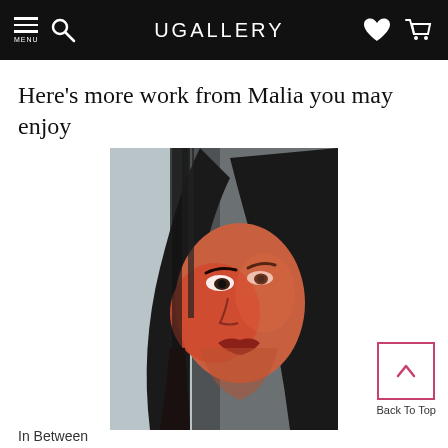MENU  UGALLERY
Here's more work from Malia you may enjoy
[Figure (illustration): A painting of a woman's face with long dark hair, rendered in expressive strokes with warm red and orange tones on her face against a dark background]
In Between